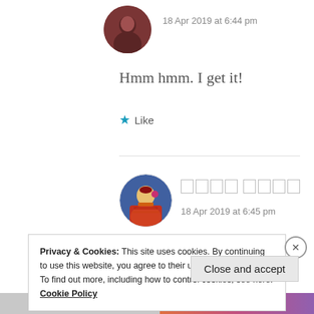18 Apr 2019 at 6:44 pm
Hmm hmm. I get it!
★ Like
[Figure (photo): Circular avatar photo of a person with dark hair]
[Figure (photo): Circular avatar photo of a woman in traditional South Asian bridal attire]
□□□□ □□□□
18 Apr 2019 at 6:45 pm
Privacy & Cookies: This site uses cookies. By continuing to use this website, you agree to their use.
To find out more, including how to control cookies, see here: Cookie Policy
Close and accept